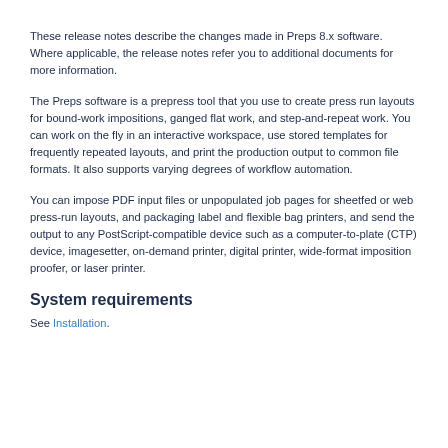These release notes describe the changes made in Preps 8.x software. Where applicable, the release notes refer you to additional documents for more information.
The Preps software is a prepress tool that you use to create press run layouts for bound-work impositions, ganged flat work, and step-and-repeat work. You can work on the fly in an interactive workspace, use stored templates for frequently repeated layouts, and print the production output to common file formats. It also supports varying degrees of workflow automation.
You can impose PDF input files or unpopulated job pages for sheetfed or web press-run layouts, and packaging label and flexible bag printers, and send the output to any PostScript-compatible device such as a computer-to-plate (CTP) device, imagesetter, on-demand printer, digital printer, wide-format imposition proofer, or laser printer.
System requirements
See Installation.